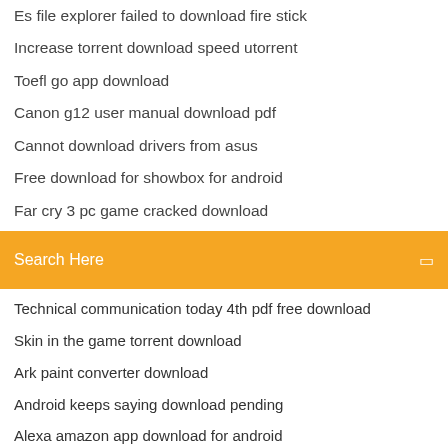Es file explorer failed to download fire stick
Increase torrent download speed utorrent
Toefl go app download
Canon g12 user manual download pdf
Cannot download drivers from asus
Free download for showbox for android
Far cry 3 pc game cracked download
[Figure (screenshot): Orange search bar with 'Search Here' placeholder text and a search icon on the right]
Technical communication today 4th pdf free download
Skin in the game torrent download
Ark paint converter download
Android keeps saying download pending
Alexa amazon app download for android
The unfinished journey pdf download
How to download audio file from any website
Buju banton - driver a download
Manual download skyrim race mod
Messages wont download android ssm